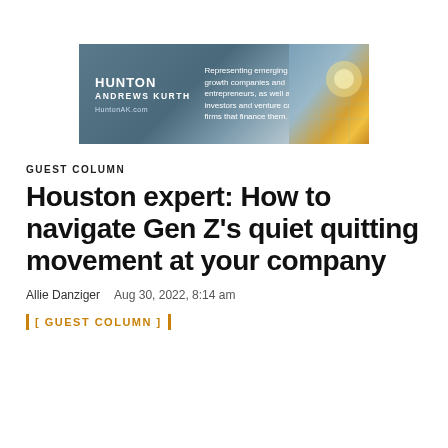[Figure (photo): Hunton Andrews Kurth law firm advertisement banner with logo on left, tagline text in middle, and glass building photo on right. Text reads: 'Representing emerging growth companies and entrepreneurs, as well as the investors and venture capital firms that finance them. HuntonAK.com']
GUEST COLUMN
Houston expert: How to navigate Gen Z's quiet quitting movement at your company
Allie Danziger    Aug 30, 2022, 8:14 am
[ GUEST COLUMN ]